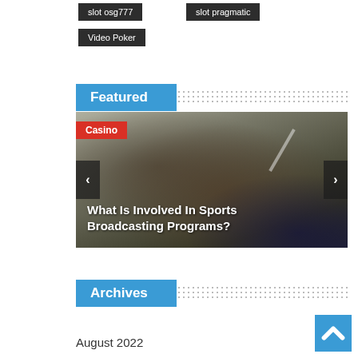slot osg777
slot pragmatic
Video Poker
Featured
[Figure (photo): Slideshow card with photo of a hand writing/signing, overlaid with title 'What Is Involved In Sports Broadcasting Programs?' and a red 'Casino' badge, with left and right navigation arrows]
Archives
August 2022